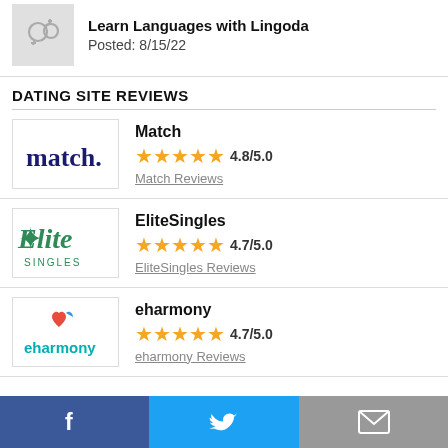[Figure (illustration): App icon placeholder with gender symbols (male/female)]
Learn Languages with Lingoda
Posted: 8/15/22
DATING SITE REVIEWS
[Figure (logo): match. logo in dark blue text]
Match
★★★★★ 4.8/5.0
Match Reviews
[Figure (logo): Elite Singles logo in green cursive]
EliteSingles
★★★★★ 4.7/5.0
EliteSingles Reviews
[Figure (logo): eharmony logo in teal with heart icon]
eharmony
★★★★★ 4.7/5.0
eharmony Reviews
Facebook | Twitter | Email